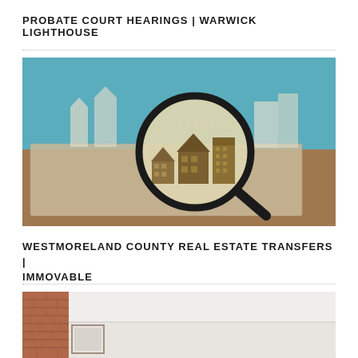PROBATE COURT HEARINGS | WARWICK LIGHTHOUSE
[Figure (photo): Magnifying glass held over paper cutout houses and buildings, symbolizing real estate research or property investigation, with a teal/blue background and newspaper underneath.]
WESTMORELAND COUNTY REAL ESTATE TRANSFERS | IMMOVABLE
[Figure (photo): Interior room with exposed brick wall on the left, white painted ceiling, and white walls — appears to be a renovated or staged property interior.]